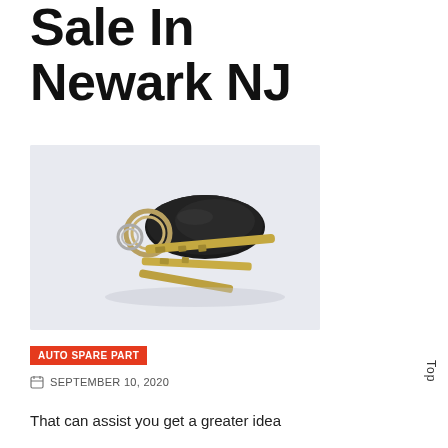Sale In Newark NJ
[Figure (photo): Car keys with black key fob and metal keys on a light grey background]
AUTO SPARE PART
SEPTEMBER 10, 2020
That can assist you get a greater idea